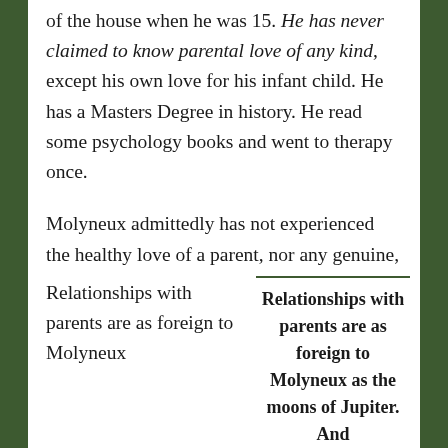of the house when he was 15. He has never claimed to know parental love of any kind, except his own love for his infant child. He has a Masters Degree in history. He read some psychology books and went to therapy once.
Molyneux admittedly has not experienced the healthy love of a parent, nor any genuine, personal interactions with parents in the critical adolescence-into-adulthood phase. Therefore, he could not describe either of these things from his own experience any more than a blind man can describe colors.
Relationships with parents are as foreign to Molyneux
Relationships with parents are as foreign to Molyneux as the moons of Jupiter. And